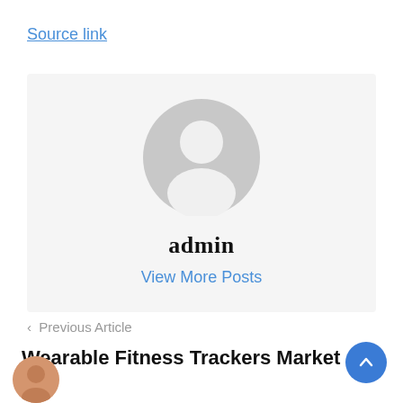Source link
[Figure (illustration): Author card with a default grey avatar/silhouette icon, bold name 'admin', and a 'View More Posts' link on a light grey background]
‹ Previous Article
Wearable Fitness Trackers Market